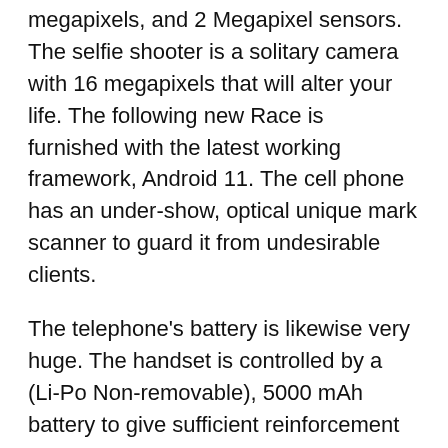megapixels, and 2 Megapixel sensors. The selfie shooter is a solitary camera with 16 megapixels that will alter your life. The following new Race is furnished with the latest working framework, Android 11. The cell phone has an under-show, optical unique mark scanner to guard it from undesirable clients.
The telephone's battery is likewise very huge. The handset is controlled by a (Li-Po Non-removable), 5000 mAh battery to give sufficient reinforcement time, and the contraption has a Fast charging; it can charge your gadget to half in 26 minutes.Now, Samsung and other cell phone producers will be attempting to integrate capacities like the Vivo T1.
Vivo T1 Detail & Full Specification :